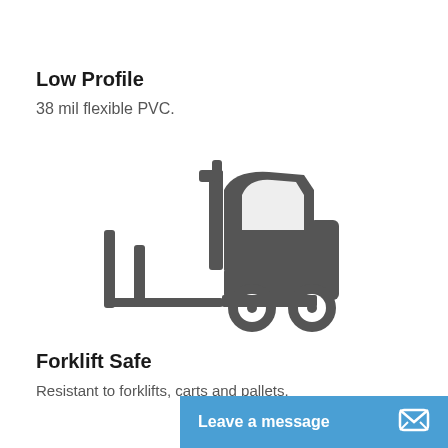Low Profile
38 mil flexible PVC.
[Figure (illustration): Forklift icon in dark grey/charcoal color, side view, showing forks, mast, body and two wheels with white outlines]
Forklift Safe
Resistant to forklifts, carts and pallets.
Leave a message